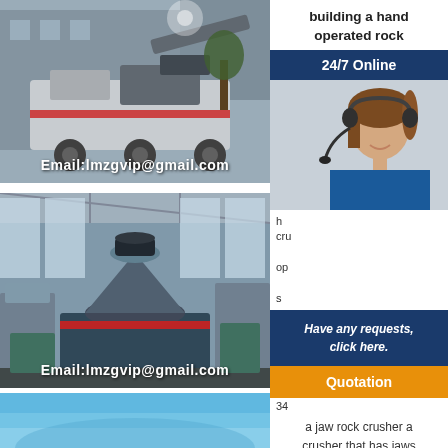building a hand operated rock
[Figure (photo): Mobile rock crushing machinery outdoors near industrial building, with email watermark Email:lmzgvip@gmail.com]
[Figure (photo): Industrial factory interior with large cone crusher machinery, with email watermark Email:lmzgvip@gmail.com]
[Figure (photo): Blue toned industrial/water image partial view at bottom]
24/7 Online
[Figure (photo): Female customer service agent wearing headset and blue jacket]
h cr op s
Have any requests, click here.
Quotation
34
a jaw rock crusher a crusher that has jaws and crushes rocks, concrete, bricks etc. and turns it into
22 Crusher ideas